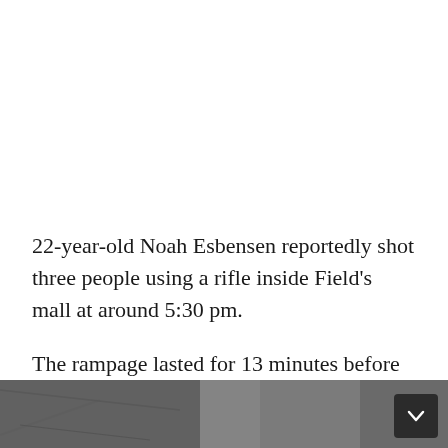22-year-old Noah Esbensen reportedly shot three people using a rifle inside Field’s mall at around 5:30 pm.
The rampage lasted for 13 minutes before he was arrested outside the building.
[Figure (photo): Grayscale image strip at bottom of page showing an outdoor or crowd scene, partially visible]